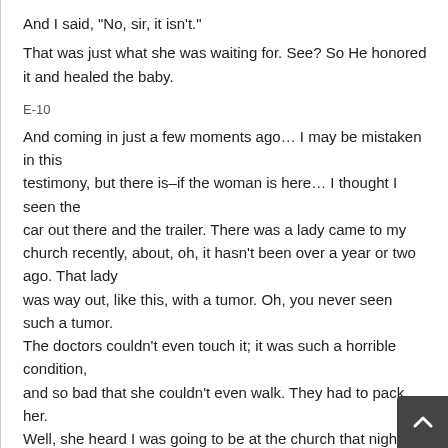And I said, "No, sir, it isn't."
That was just what she was waiting for. See? So He honored it and healed the baby.
E-10
And coming in just a few moments ago… I may be mistaken in this testimony, but there is–if the woman is here… I thought I seen the car out there and the trailer. There was a lady came to my church recently, about, oh, it hasn't been over a year or two ago. That lady was way out, like this, with a tumor. Oh, you never seen such a tumor. The doctors couldn't even touch it; it was such a horrible condition, and so bad that she couldn't even walk. They had to pack her. Well, she heard I was going to be at the church that night. You know